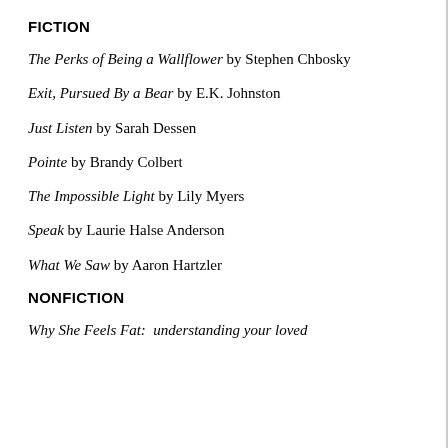FICTION
The Perks of Being a Wallflower by Stephen Chbosky
Exit, Pursued By a Bear by E.K. Johnston
Just Listen by Sarah Dessen
Pointe by Brandy Colbert
The Impossible Light by Lily Myers
Speak by Laurie Halse Anderson
What We Saw by Aaron Hartzler
NONFICTION
Why She Feels Fat:  understanding your loved